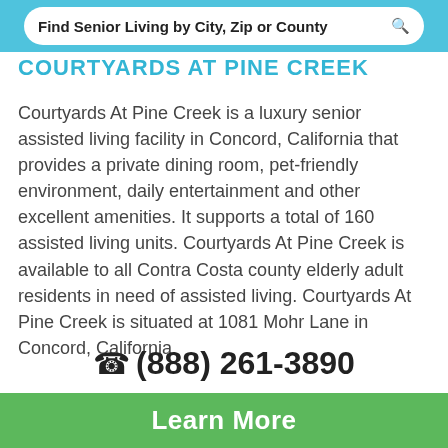Find Senior Living by City, Zip or County
COURTYARDS AT PINE CREEK
Courtyards At Pine Creek is a luxury senior assisted living facility in Concord, California that provides a private dining room, pet-friendly environment, daily entertainment and other excellent amenities. It supports a total of 160 assisted living units. Courtyards At Pine Creek is available to all Contra Costa county elderly adult residents in need of assisted living. Courtyards At Pine Creek is situated at 1081 Mohr Lane in Concord, California.
(888) 261-3890
Learn More